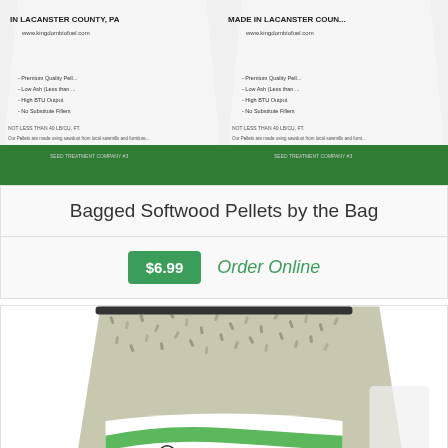[Figure (photo): Two white bags of Kingdom Biofuel softwood pellets labeled 'Made in Lancaster County, PA' with www.kingdombiofuel.com, showing product features: Premium Quality, Low Ash, High BTU Output, No Substitute Fillers]
Bagged Softwood Pellets by the Bag
$6.99   Order Online
[Figure (photo): Close-up of a bag of Kingdom Biofuel wood pellets showing the pellets texture and the Kingdom logo with green leaf design]